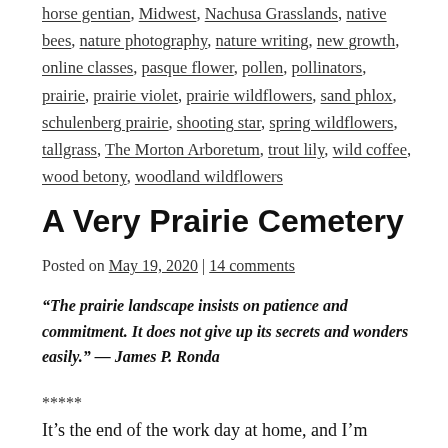horse gentian, Midwest, Nachusa Grasslands, native bees, nature photography, nature writing, new growth, online classes, pasque flower, pollen, pollinators, prairie, prairie violet, prairie wildflowers, sand phlox, schulenberg prairie, shooting star, spring wildflowers, tallgrass, The Morton Arboretum, trout lily, wild coffee, wood betony, woodland wildflowers
A Very Prairie Cemetery
Posted on May 19, 2020 | 14 comments
“The prairie landscape insists on patience and commitment. It does not give up its secrets and wonders easily.” — James P. Ronda
*****
It’s the end of the work day at home, and I’m scrolling through Twitter. Then I see it —a tweet by tallgrass artist Liz Anna Kozik about a